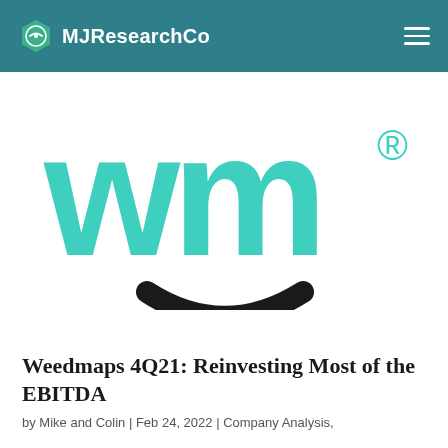MJResearchCo
[Figure (logo): Weedmaps logo — large teal 'wm' letters with registered trademark symbol and a black curved smile arc beneath]
Weedmaps 4Q21: Reinvesting Most of the EBITDA
by Mike and Colin | Feb 24, 2022 | Company Analysis,